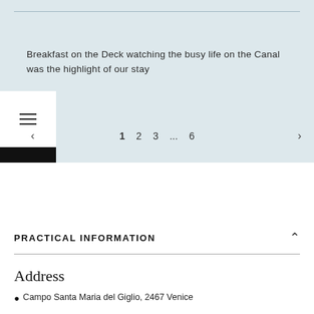Breakfast on the Deck watching the busy life on the Canal was the highlight of our stay
PRACTICAL INFORMATION
Address
Campo Santa Maria del Giglio, 2467 Venice